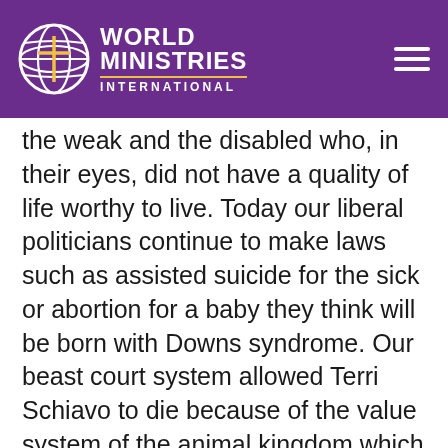World Ministries International
the weak and the disabled who, in their eyes, did not have a quality of life worthy to live. Today our liberal politicians continue to make laws such as assisted suicide for the sick or abortion for a baby they think will be born with Downs syndrome. Our beast court system allowed Terri Schiavo to die because of the value system of the animal kingdom which is sweeping America today. It is the reason why abortion was legalized in 1973, as well as homosexuality. When we reject the absolute values and morality which Jesus taught, we come under the value system of the animal